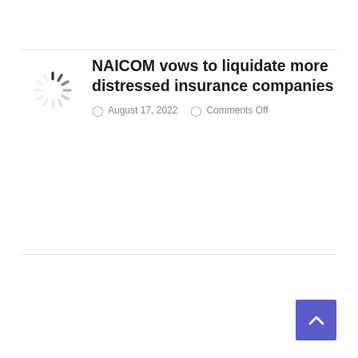NAICOM vows to liquidate more distressed insurance companies
August 17, 2022   Comments Off
[Figure (other): Loading spinner icon (circular dashed/segmented spinner graphic)]